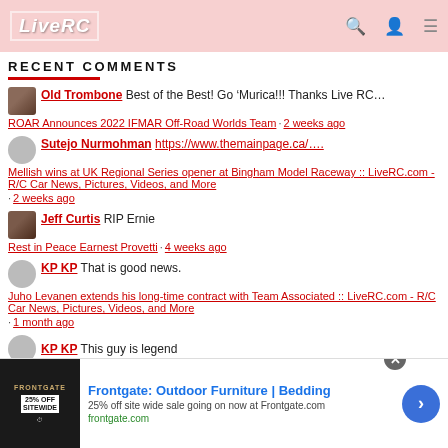LiveRC - Recent Comments
RECENT COMMENTS
Old Trombone Best of the Best! Go ‘Murica!!! Thanks Live RC... | ROAR Announces 2022 IFMAR Off-Road Worlds Team · 2 weeks ago
Sutejo Nurmohman https://www.themainpage.ca/.... | Mellish wins at UK Regional Series opener at Bingham Model Raceway :: LiveRC.com - R/C Car News, Pictures, Videos, and More · 2 weeks ago
Jeff Curtis RIP Ernie | Rest in Peace Earnest Provetti · 4 weeks ago
KP KP That is good news. | Juho Levanen extends his long-time contract with Team Associated :: LiveRC.com - R/C Car News, Pictures, Videos, and More · 1 month ago
KP KP This guy is legend
[Figure (screenshot): Frontgate advertisement banner: Outdoor Furniture | Bedding, 25% off site wide sale going on now at Frontgate.com]